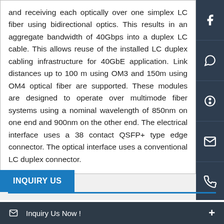and receiving each optically over one simplex LC fiber using bidirectional optics. This results in an aggregate bandwidth of 40Gbps into a duplex LC cable. This allows reuse of the installed LC duplex cabling infrastructure for 40GbE application. Link distances up to 100 m using OM3 and 150m using OM4 optical fiber are supported. These modules are designed to operate over multimode fiber systems using a nominal wavelength of 850nm on one end and 900nm on the other end. The electrical interface uses a 38 contact QSFP+ type edge connector. The optical interface uses a conventional LC duplex connector.
[Figure (infographic): Social media sidebar with icons for Facebook, WhatsApp, Skype, Email, and Phone on a dark navy background]
INQUIRY US
Your Name *
required
Your Email *
Inquiry Us Now !